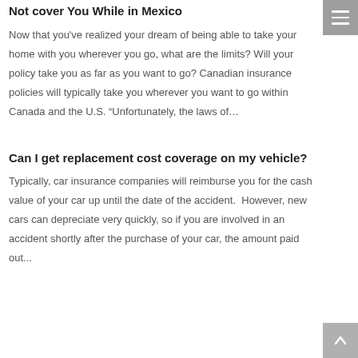Not cover You While in Mexico
Now that you've realized your dream of being able to take your home with you wherever you go, what are the limits? Will your policy take you as far as you want to go? Canadian insurance policies will typically take you wherever you want to go within Canada and the U.S. “Unfortunately, the laws of…
Can I get replacement cost coverage on my vehicle?
Typically, car insurance companies will reimburse you for the cash value of your car up until the date of the accident.  However, new cars can depreciate very quickly, so if you are involved in an accident shortly after the purchase of your car, the amount paid out...